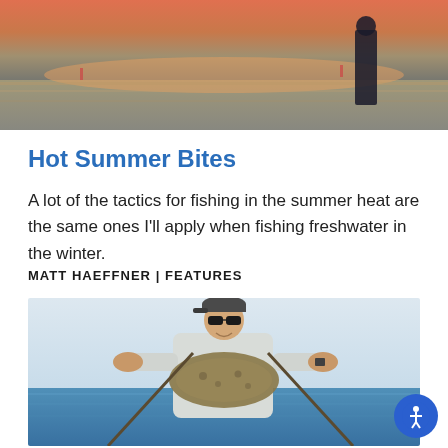[Figure (photo): Outdoor sunset/water scene with a silhouette of a person standing near a body of water, orange and pink sky tones]
Hot Summer Bites
A lot of the tactics for fishing in the summer heat are the same ones I’ll apply when fishing freshwater in the winter.
MATT HAEFFNER | FEATURES
[Figure (photo): Man wearing sunglasses and a cap holding up a flounder fish on a boat on the water, clear sky background]